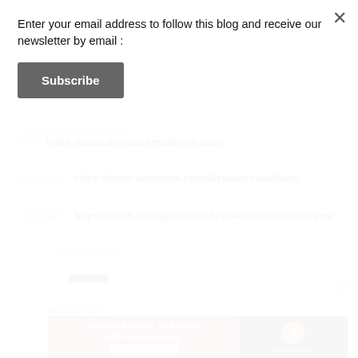Enter your email address to follow this blog and receive our newsletter by email :
Subscribe
/or-more-information/product
visit: https://www.lilybeachmaldives.com/
Facebook: https://www.facebook.com/lilybeachmaldives/
Instagram: https://www.instagram.com/lilybeachresortmaldives/
Advertisements
Advertisements
[Figure (screenshot): DuckDuckGo advertisement banner: orange left panel with text 'Search, browse, and email with more privacy. All in One Free App' and dark right panel with DuckDuckGo logo and duck icon.]